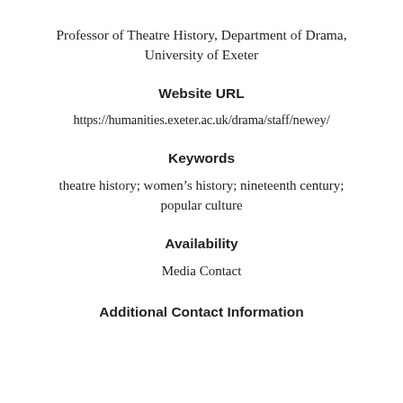Professor of Theatre History, Department of Drama, University of Exeter
Website URL
https://humanities.exeter.ac.uk/drama/staff/newey/
Keywords
theatre history; women’s history; nineteenth century; popular culture
Availability
Media Contact
Additional Contact Information